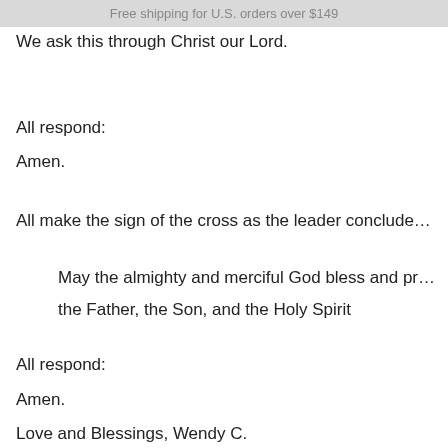Free shipping for U.S. orders over $149
so that they may have peace in their hearts and hom…
We ask this through Christ our Lord.
All respond:
Amen.
All make the sign of the cross as the leader conclude…
May the almighty and merciful God bless and pr…
the Father, the Son, and the Holy Spirit
All respond:
Amen.
Love and Blessings, Wendy C.
"Mom of 13"  - Your Mommy Health and